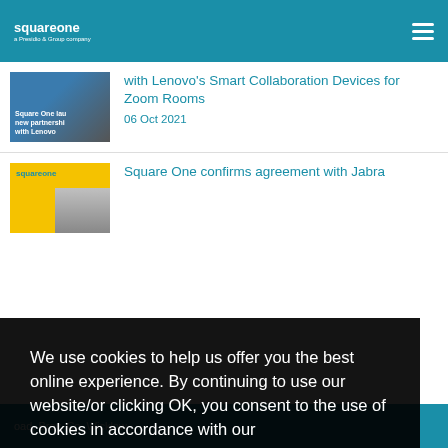squareone
with Lenovo's Smart Collaboration Devices for Zoom Rooms
06 Oct 2021
Square One confirms agreement with Jabra
We use cookies to help us offer you the best online experience. By continuing to use our website/or clicking OK, you consent to the use of cookies in accordance with our privacy policy
OK
oad, Bray, Co. Wicklow